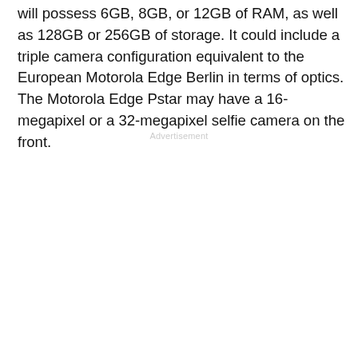will possess 6GB, 8GB, or 12GB of RAM, as well as 128GB or 256GB of storage. It could include a triple camera configuration equivalent to the European Motorola Edge Berlin in terms of optics. The Motorola Edge Pstar may have a 16-megapixel or a 32-megapixel selfie camera on the front.
Advertisement